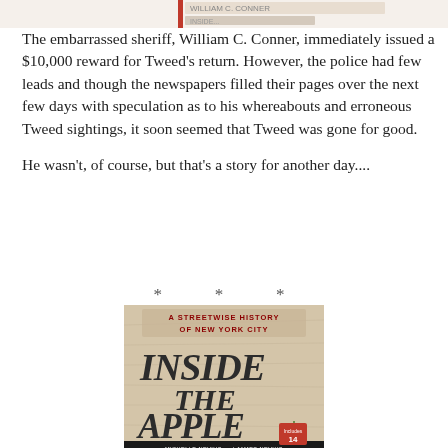[Figure (other): Top partial image of a book cover showing author name and title text fragments with a red vertical bar on the left side]
The embarrassed sheriff, William C. Conner, immediately issued a $10,000 reward for Tweed's return. However, the police had few leads and though the newspapers filled their pages over the next few days with speculation as to his whereabouts and erroneous Tweed sightings, it soon seemed that Tweed was gone for good.
He wasn't, of course, but that's a story for another day....
* * *
[Figure (photo): Book cover of 'A Streetwise History of New York City: Inside the Apple' by Michelle Nevius and James Nevius]